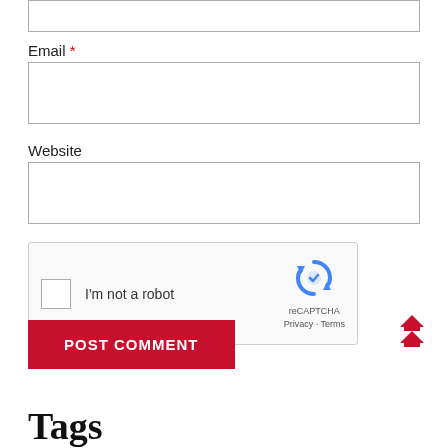Email *
[Figure (other): Email text input field (empty)]
Website
[Figure (other): Website text input field (empty)]
[Figure (other): reCAPTCHA widget: checkbox 'I'm not a robot' with reCAPTCHA logo, Privacy and Terms links]
[Figure (other): POST COMMENT button (red background, white text)]
[Figure (other): Double up-arrow chevron icon in red, scroll-to-top button]
Tags